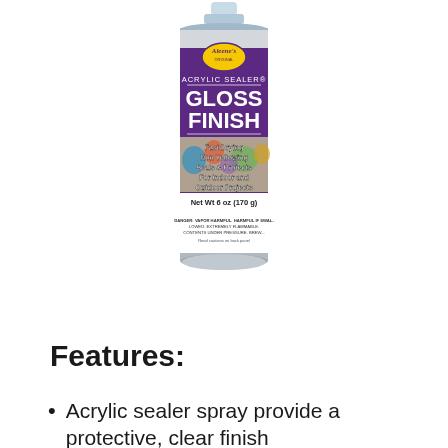[Figure (photo): Aleene's Original Acrylic Sealer Gloss Finish spray can, purple label, Net Wt 6 oz (170 g), with features listed: Fast Drying, Non Yellowing, Seals & Protects, For Indoor and Outdoor Projects]
Features:
Acrylic sealer spray provide a protective, clear finish